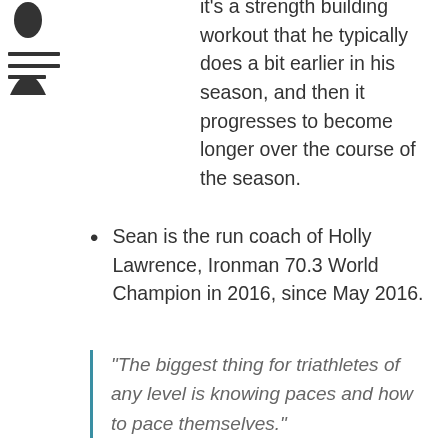It's a strength building workout that he typically does a bit earlier in his season, and then it progresses to become longer over the course of the season.
Sean is the run coach of Holly Lawrence, Ironman 70.3 World Champion in 2016, since May 2016.
"The biggest thing for triathletes of any level is knowing paces and how to pace themselves."